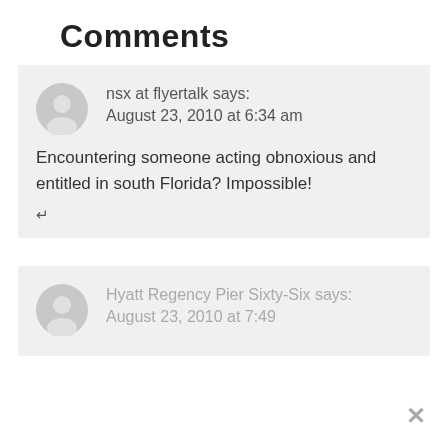Comments
nsx at flyertalk says:
August 23, 2010 at 6:34 am
Encountering someone acting obnoxious and entitled in south Florida? Impossible!
Hyatt Regency Pier Sixty-Six says:
August 23, 2010 at 7:49